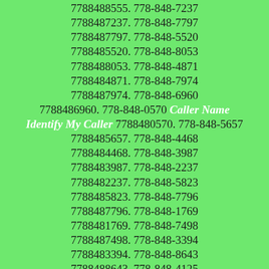7788488555. 778-848-7237 7788487237. 778-848-7797 7788487797. 778-848-5520 7788485520. 778-848-8053 7788488053. 778-848-4871 7788484871. 778-848-7974 7788487974. 778-848-6960 7788486960. 778-848-0570 Caller Name Identify My Caller 7788480570. 778-848-5657 7788485657. 778-848-4468 7788484468. 778-848-3987 7788483987. 778-848-2237 7788482237. 778-848-5823 7788485823. 778-848-7796 7788487796. 778-848-1769 7788481769. 778-848-7498 7788487498. 778-848-3394 7788483394. 778-848-8643 7788488643. 778-848-4125 7788484125. 778-848-4226 7788484226. 778-848-2973 7788482973. 778-848-9833 7788489833. 778-848-9558 7788489558. 778-848-9548 7788489548. 778-848-2474